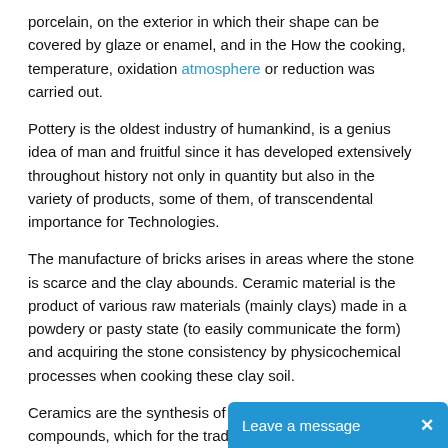porcelain, on the exterior in which their shape can be covered by glaze or enamel, and in the How the cooking, temperature, oxidation atmosphere or reduction was carried out.
Pottery is the oldest industry of humankind, is a genius idea of man and fruitful since it has developed extensively throughout history not only in quantity but also in the variety of products, some of them, of transcendental importance for Technologies.
The manufacture of bricks arises in areas where the stone is scarce and the clay abounds. Ceramic material is the product of various raw materials (mainly clays) made in a powdery or pasty state (to easily communicate the form) and acquiring the stone consistency by physicochemical processes when cooking these clay soil.
Ceramics are the synthesis of one or more chemical compounds, which for the tradit...